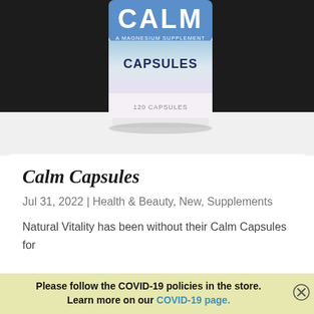[Figure (photo): A bottle of Natural Vitality CALM Magnesium Supplement Capsules (120 Capsules) on a white surface against a dark background. The label shows 'CALM' in large letters with 'A MAGNESIUM SUPPLEMENT' below and 'CAPSULES' in bold.]
Calm Capsules
Jul 31, 2022 | Health & Beauty, New, Supplements
Natural Vitality has been without their Calm Capsules for
Please follow the COVID-19 policies in the store. Learn more on our COVID-19 page.